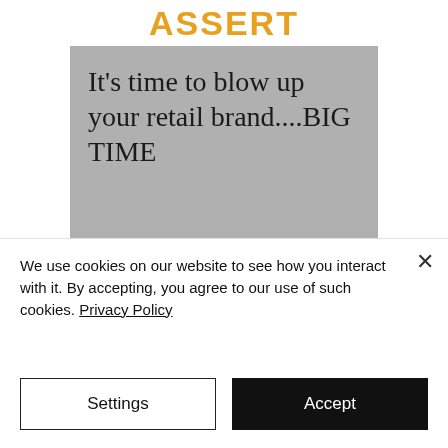[Figure (illustration): A book cover with a white top banner showing the title 'ASSERT' in bold orange/yellow letters, a gray background with the tagline 'It's time to blow up your retail brand....BIG TIME' in dark serif font, and a yellow strip at the bottom.]
We use cookies on our website to see how you interact with it. By accepting, you agree to our use of such cookies. Privacy Policy
Settings
Accept